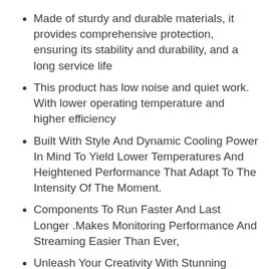Made of sturdy and durable materials, it provides comprehensive protection, ensuring its stability and durability, and a long service life
This product has low noise and quiet work. With lower operating temperature and higher efficiency
Built With Style And Dynamic Cooling Power In Mind To Yield Lower Temperatures And Heightened Performance That Adapt To The Intensity Of The Moment.
Components To Run Faster And Last Longer .Makes Monitoring Performance And Streaming Easier Than Ever,
Unleash Your Creativity With Stunning Photo And Video Editing You'll Get